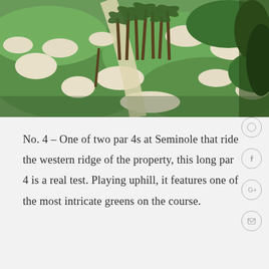[Figure (photo): Aerial photograph of a golf course (Seminole Golf Club) showing green fairways, white sand bunkers, and palm trees lining a pathway, viewed from above]
No. 4 – One of two par 4s at Seminole that ride the western ridge of the property, this long par 4 is a real test. Playing uphill, it features one of the most intricate greens on the course.